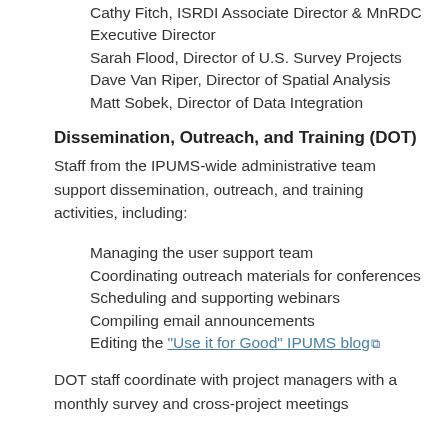Cathy Fitch, ISRDI Associate Director & MnRDC Executive Director
Sarah Flood, Director of U.S. Survey Projects
Dave Van Riper, Director of Spatial Analysis
Matt Sobek, Director of Data Integration
Dissemination, Outreach, and Training (DOT)
Staff from the IPUMS-wide administrative team support dissemination, outreach, and training activities, including:
Managing the user support team
Coordinating outreach materials for conferences
Scheduling and supporting webinars
Compiling email announcements
Editing the “Use it for Good” IPUMS blog
DOT staff coordinate with project managers with a monthly survey and cross-project meetings